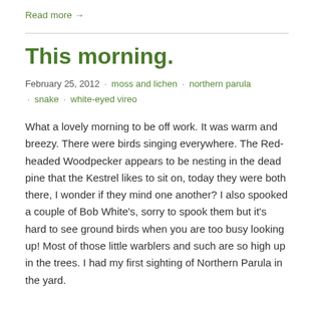Read more →
This morning.
February 25, 2012  ·  moss and lichen  ·  northern parula  ·  snake  ·  white-eyed vireo
What a lovely morning to be off work. It was warm and breezy. There were birds singing everywhere. The Red-headed Woodpecker appears to be nesting in the dead pine that the Kestrel likes to sit on, today they were both there, I wonder if they mind one another? I also spooked a couple of Bob White's, sorry to spook them but it's hard to see ground birds when you are too busy looking up! Most of those little warblers and such are so high up in the trees. I had my first sighting of Northern Parula in the yard.